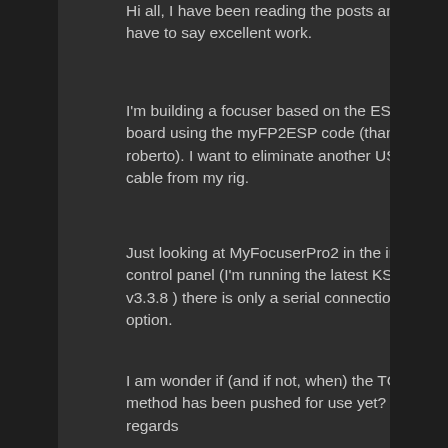Hi all, I have been reading the posts and I have to say excellent work.
I'm building a focuser based on the ESP32 board using the myFP2ESP code (thanks roberto). I want to eliminate another USD cable from my rig.
Just looking at MyFocuserPro2 in the indi control panel (I'm running the latest KStars v3.3.8 ) there is only a serial connection option.
I am wonder if (and if not, when) the TCP method has been pushed for use yet?
regards